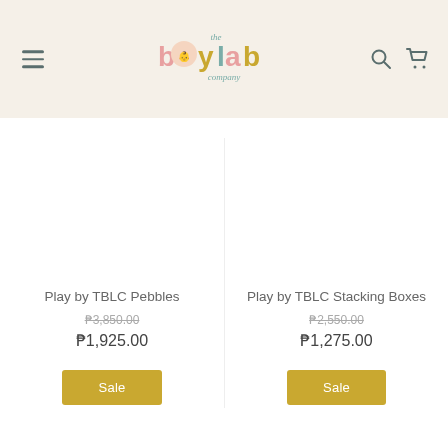the babylab company — navigation header
Play by TBLC Pebbles
₱3,850.00
₱1,925.00
Play by TBLC Stacking Boxes
₱2,550.00
₱1,275.00
Sale
Sale